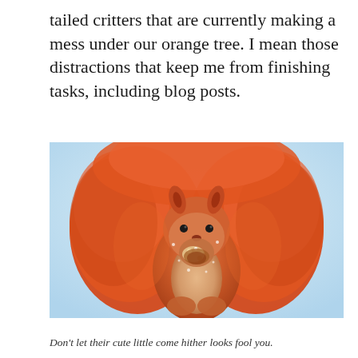tailed critters that are currently making a mess under our orange tree. I mean those distractions that keep me from finishing tasks, including blog posts.
[Figure (photo): Close-up photograph of a red squirrel with a large fluffy orange-red tail framing its face, looking directly at the camera, with a light blue/white blurred background. The squirrel appears to be eating something and has snow or food particles on its fur.]
Don't let their cute little come hither looks fool you.